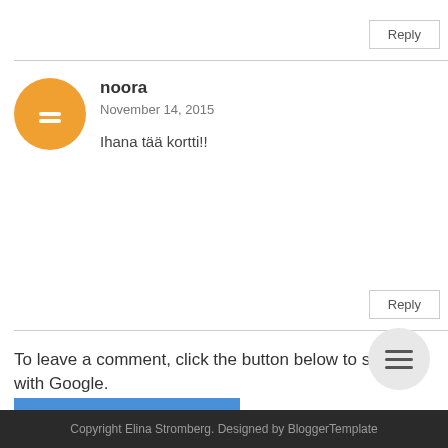Reply
[Figure (illustration): Orange Blogger avatar circle with white equals/blogger icon]
noora
November 14, 2015
Ihana tää kortti!!
Reply
To leave a comment, click the button below to sign in with Google.
SIGN IN WITH GOOGLE
[Figure (illustration): Grey circular hamburger menu button with three horizontal lines]
Copyright Elina Stromberg. Designed by BloggerTemplate